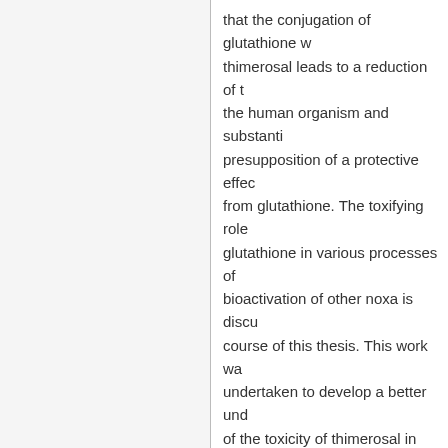that the conjugation of glutathione with thimerosal leads to a reduction of the human organism and substantially presupposition of a protective effect from glutathione. The toxifying role glutathione in various processes of bioactivation of other noxa is discussed in course of this thesis. This work was undertaken to develop a better understanding of the toxicity of thimerosal in the human organism and additionally reference possible allergenic potential of thim
| Field | Value |
| --- | --- |
| dc.contributor.coReferee | Schaper, Andreas PD Dr. |
| dc.subject.ger | Thiomersal |
| dc.subject.ger | Zytotoxizität |
| dc.subject.ger | Glutathion-Konjugation |
| dc.subject.ger | Neutralrottest |